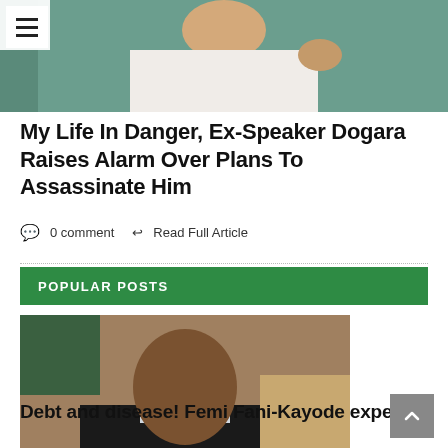[Figure (photo): Man in white garment seated in a teal chair, raising hand]
My Life In Danger, Ex-Speaker Dogara Raises Alarm Over Plans To Assassinate Him
0 comment   Read Full Article
POPULAR POSTS
[Figure (photo): Portrait of Femi Fani-Kayode in a suit]
Debt and disease! Femi Fani-Kayode expends